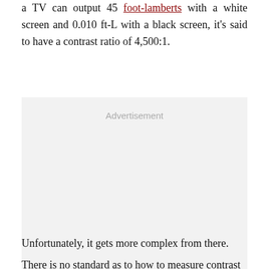a TV can output 45 foot-lamberts with a white screen and 0.010 ft-L with a black screen, it's said to have a contrast ratio of 4,500:1.
[Figure (other): Advertisement placeholder box with light gray background and 'Advertisement' label in gray text]
Unfortunately, it gets more complex from there.
There is no standard as to how to measure contrast